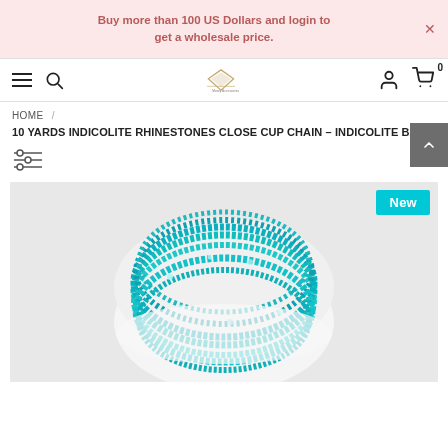Buy more than 100 US Dollars and login to get a wholesale price.
[Figure (screenshot): Navigation bar with hamburger menu, search icon, logo, user icon, and cart icon showing 0 items]
HOME /
10 YARDS INDICOLITE RHINESTONES CLOSE CUP CHAIN - INDICOLITE BASE
[Figure (other): Filter/slider icon with three horizontal lines and adjustment circles]
[Figure (photo): Product photo of aqua/teal rhinestone close cup chain wound on a white spool, with a cyan 'New' badge in the top right corner]